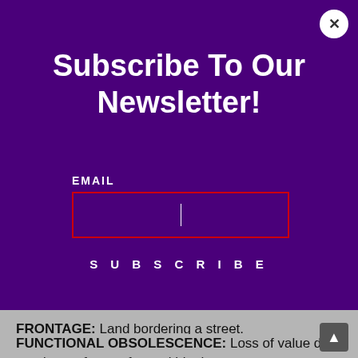Subscribe To Our Newsletter!
EMAIL
SUBSCRIBE
FRONTAGE: Land bordering a street.
FUNCTIONAL OBSOLESCENCE: Loss of value due to adverse factors from within the structure